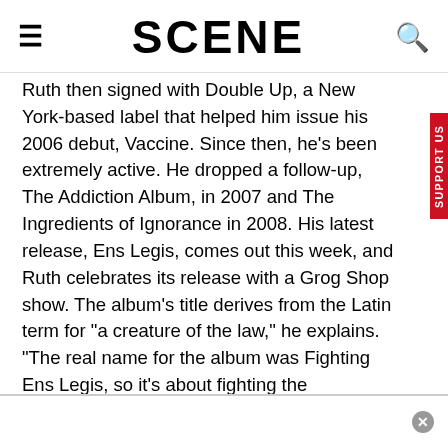SCENE
Ruth then signed with Double Up, a New York-based label that helped him issue his 2006 debut, Vaccine. Since then, he's been extremely active. He dropped a follow-up, The Addiction Album, in 2007 and The Ingredients of Ignorance in 2008. His latest release, Ens Legis, comes out this week, and Ruth celebrates its release with a Grog Shop show. The album's title derives from the Latin term for "a creature of the law," he explains. "The real name for the album was Fighting Ens Legis, so it's about fighting the corporation."
There's a heavy emphasis on the plight of the working class